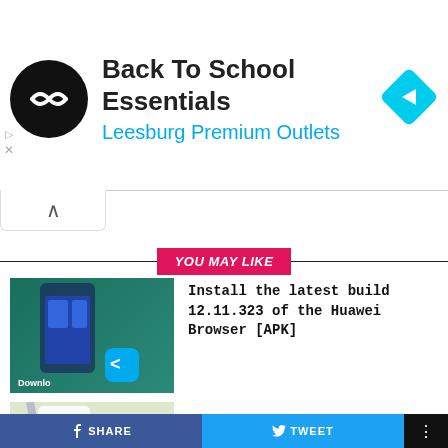[Figure (screenshot): Advertisement banner for Back To School Essentials at Leesburg Premium Outlets with a circular black logo and blue diamond arrow icon]
Back To School Essentials
Leesburg Premium Outlets
YOU MAY LIKE
[Figure (photo): Thumbnail showing Huawei phone with app download screen]
Install the latest build 12.11.323 of the Huawei Browser [APK]
[Figure (photo): Thumbnail showing Petal Maps app with map and location pin, label: Petal Ma... Download: V2.8.0...]
Download Link: Huawei Petal Maps gets the new update 2.8.0.300(001)
[Figure (photo): Thumbnail showing HMS Core 6.0 phone with red HMS icon]
HMS Core 6.0 new version 6.6.0.352 is available for Huawei users [Huawei Mobile Services]
SHARE   TWEET